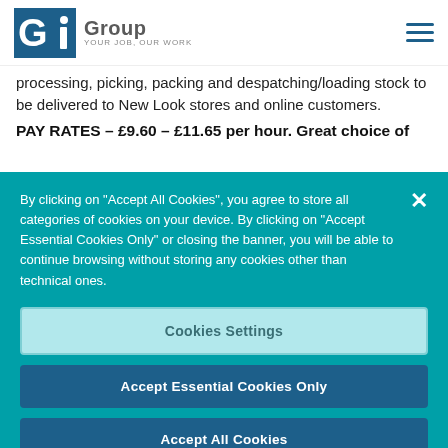Gi Group — YOUR JOB, OUR WORK
processing, picking, packing and despatching/loading stock to be delivered to New Look stores and online customers.
PAY RATES – £9.60 – £11.65 per hour. Great choice of
By clicking on "Accept All Cookies", you agree to store all categories of cookies on your device. By clicking on "Accept Essential Cookies Only" or closing the banner, you will be able to continue browsing without storing any cookies other than technical ones.
Cookies Settings
Accept Essential Cookies Only
Accept All Cookies